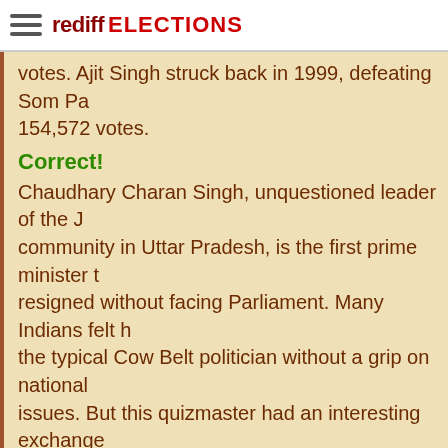rediff ELECTIONS
votes. Ajit Singh struck back in 1999, defeating Som Pa... 154,572 votes.
Correct!
Chaudhary Charan Singh, unquestioned leader of the J... community in Uttar Pradesh, is the first prime minister to resigned without facing Parliament. Many Indians felt he the typical Cow Belt politician without a grip on national issues. But this quizmaster had an interesting exchange letters when Charan Singh was home minister in the Mo Desai government. Even though he had no reason to re to a teenager -- oh! those times were so different -- he displaying a clarity of thought that still amazes me 27 ye later. In 1997, after being twice chief minister of Uttar Pr (in 1967 and 1970) he stood for Parliament for the first choosing Baghpat in the Jat heartland of eastern Uttar Pradesh. He won thrice in 1977, 1980 and 1984. After h death, his former IBM engineer son Ajit Singh succeede to Parliament, winning the seat in 1989, 1991 and 1996 1998, another Jat, Sompal, a minister in the V P Singh government and now in the BJP, stunned Ajit Singh by 4...